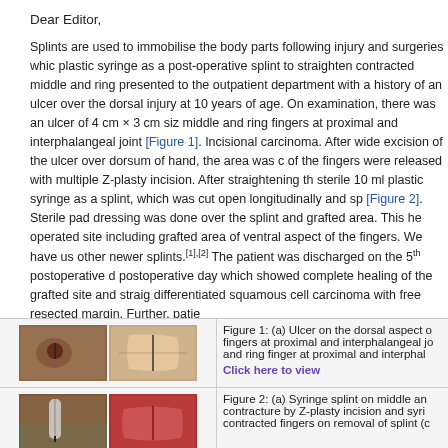Dear Editor,
Splints are used to immobilise the body parts following injury and surgeries which plastic syringe as a post-operative splint to straighten contracted middle and ring presented to the outpatient department with a history of an ulcer over the dorsal injury at 10 years of age. On examination, there was an ulcer of 4 cm × 3 cm size middle and ring fingers at proximal and interphalangeal joint [Figure 1]. Incisional carcinoma. After wide excision of the ulcer over dorsum of hand, the area was co of the fingers were released with multiple Z-plasty incision. After straightening the sterile 10 ml plastic syringe as a splint, which was cut open longitudinally and sp [Figure 2]. Sterile pad dressing was done over the splint and grafted area. This he operated site including grafted area of ventral aspect of the fingers. We have use other newer splints.[1],[2] The patient was discharged on the 5th postoperative da postoperative day which showed complete healing of the grafted site and straigh differentiated squamous cell carcinoma with free resected margin. Further, patie
[Figure (photo): Two medical photographs showing hand with ulcer on dorsal aspect]
Figure 1: (a) Ulcer on the dorsal aspect of fingers at proximal and interphalangeal jo and ring finger at proximal and interphal
Click here to view
[Figure (photo): Two medical photographs showing syringe splint on fingers]
Figure 2: (a) Syringe splint on middle and contracture by Z-plasty incision and syrin contracted fingers on removal of splint (c